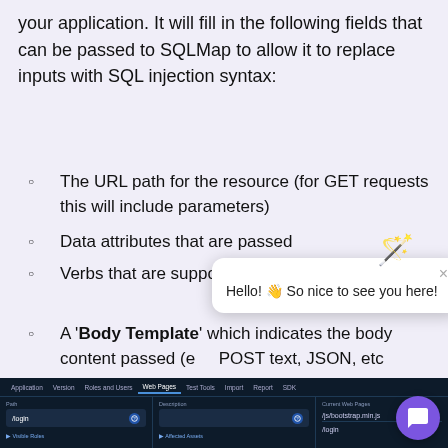your application. It will fill in the following fields that can be passed to SQLMap to allow it to replace inputs with SQL injection syntax:
The URL path for the resource (for GET requests this will include parameters)
Data attributes that are passed
Verbs that are supported (GET, POST, PUT, etc)
A 'Body Template' which indicates the body content passed (e.g. POST text, JSON, etc
[Figure (screenshot): Screenshot of a dark-themed web application UI showing navigation tabs (Application, Version, Roles and Users, Web Pages, Test Tools, Import, Report, SDK), a path input field showing '/login', a Description field, and a Current Web Pages panel showing '/js/bootstrap.min.js' and '/login'. Bottom shows '> Visible Roles' and '> Affected Assets' links.]